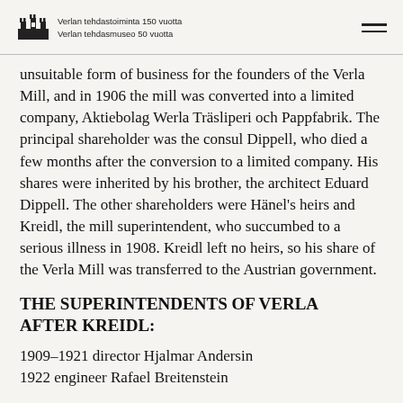Verlan tehdastoiminta 150 vuotta
Verlan tehdasmuseo 50 vuotta
unsuitable form of business for the founders of the Verla Mill, and in 1906 the mill was converted into a limited company, Aktiebolag Werla Träsliperi och Pappfabrik. The principal shareholder was the consul Dippell, who died a few months after the conversion to a limited company. His shares were inherited by his brother, the architect Eduard Dippell. The other shareholders were Hänel's heirs and Kreidl, the mill superintendent, who succumbed to a serious illness in 1908. Kreidl left no heirs, so his share of the Verla Mill was transferred to the Austrian government.
THE SUPERINTENDENTS OF VERLA AFTER KREIDL:
1909–1921 director Hjalmar Andersin
1922 engineer Rafael Breitenstein